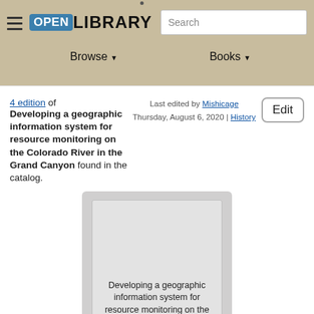Open Library — Browse / Books navigation with Search
4 edition of Developing a geographic information system for resource monitoring on the Colorado River in the Grand Canyon found in the catalog.
Last edited by Mishicage Thursday, August 6, 2020 | History
[Figure (illustration): Book placeholder card showing title 'Developing a geographic information system for resource monitoring on the Colorado River in the Grand Canyon' centered in a grey card with rounded corners on a darker grey background.]